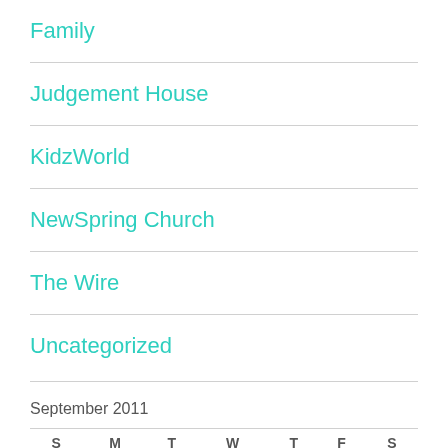Family
Judgement House
KidzWorld
NewSpring Church
The Wire
Uncategorized
September 2011
| S | M | T | W | T | F | S |
| --- | --- | --- | --- | --- | --- | --- |
|  |  |  |  | 1 | 2 | 3 |